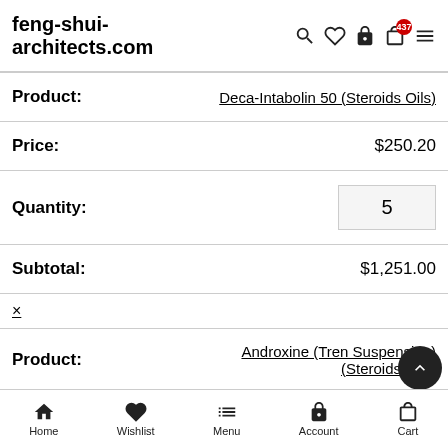feng-shui-architects.com
| Field | Value |
| --- | --- |
| Product: | Deca-Intabolin 50 (Steroids Oils) |
| Price: | $250.20 |
| Quantity: | 5 |
| Subtotal: | $1,251.00 |
| × |  |
| Product: | Androxine (Tren Suspension) (Steroids Oils) |
Home  Wishlist  Menu  Account  Cart